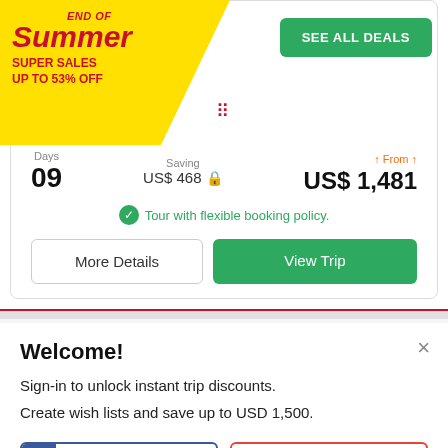[Figure (infographic): End of Summer Super Sales promotional banner with yellow background, red italic text reading END OF Summer SUPER SALES UP TO 53% OFF]
SEE ALL DEALS
Days  Saving  From
09  US$ 468  US$ 1,481
Tour with flexible booking policy.
More Details
View Trip
Welcome!
Sign-in to unlock instant trip discounts.
Create wish lists and save up to USD 1,500.
FACEBOOK
GOOGLE
More login options here.